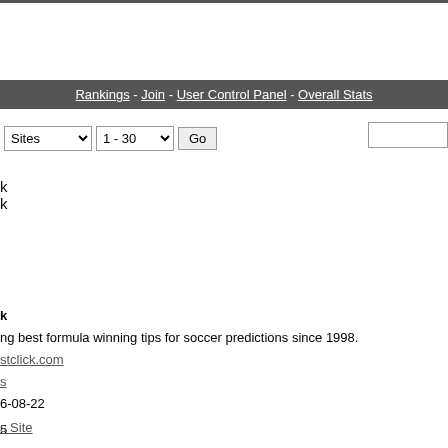Rankings - Join - User Control Panel - Overall Stats
Sites  1 - 30  Go
k
k
ng best formula winning tips for soccer predictions since 1998.
stclick.com
s
6-08-22
5
 8
s Site